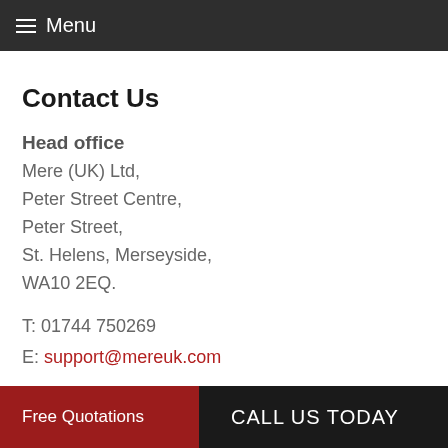≡ Menu
Contact Us
Head office
Mere (UK) Ltd,
Peter Street Centre,
Peter Street,
St. Helens, Merseyside,
WA10 2EQ.
T: 01744 750269
E: support@mereuk.com
Social Media
Free Quotations  CALL US TODAY